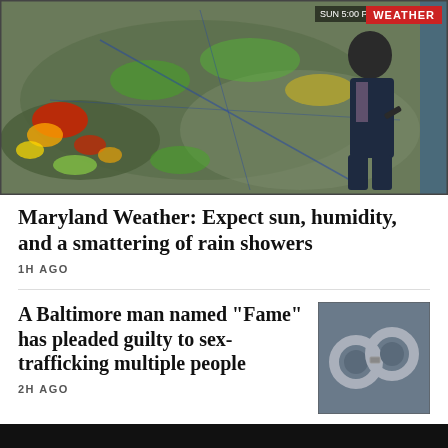[Figure (photo): TV weather presenter standing in front of a large weather radar map showing storm patterns over a region, with a red WEATHER badge and SUN 5:00 PM timestamp in the top right corner of the screen.]
Maryland Weather: Expect sun, humidity, and a smattering of rain showers
1H AGO
A Baltimore man named "Fame" has pleaded guilty to sex-trafficking multiple people
[Figure (photo): Close-up photo of metal handcuffs on a dark surface.]
2H AGO